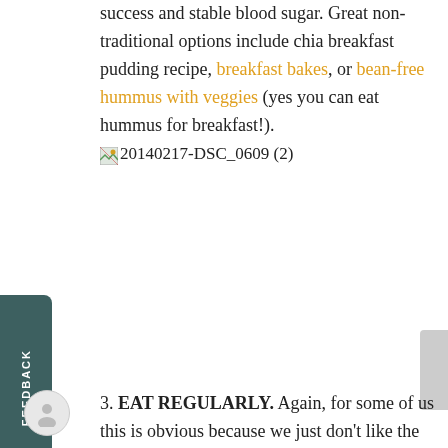success and stable blood sugar. Great non-traditional options include chia breakfast pudding recipe, breakfast bakes, or bean-free hummus with veggies (yes you can eat hummus for breakfast!).
🖼️20140217-DSC_0609 (2)
3. EAT REGULARLY. Again, for some of us this is obvious because we just don't like the way we feel when we skip a meal. But, in a randomized